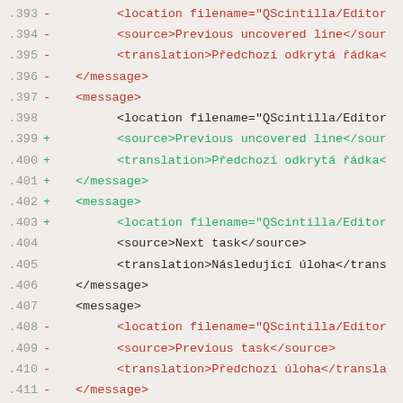Code diff showing XML message blocks, lines 393-413
.393 -         <location filename="QScintilla/Editor
.394 -         <source>Previous uncovered line</sour
.395 -         <translation>Předchozí odkrytá řádka<
.396 -     </message>
.397 -     <message>
.398         <location filename="QScintilla/Editor
.399 +         <source>Previous uncovered line</sour
.400 +         <translation>Předchozí odkrytá řádka<
.401 +     </message>
.402 +     <message>
.403 +         <location filename="QScintilla/Editor
.404         <source>Next task</source>
.405         <translation>Následující úloha</trans
.406         </message>
.407         <message>
.408 -         <location filename="QScintilla/Editor
.409 -         <source>Previous task</source>
.410 -         <translation>Předchozí úloha</transla
.411 -     </message>
.412 -     <message>
.413         <location filename="QScintilla/Editor